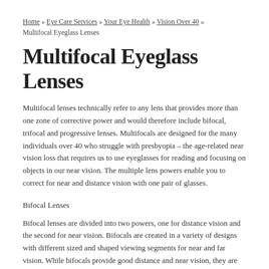Home » Eye Care Services » Your Eye Health » Vision Over 40 » Multifocal Eyeglass Lenses
Multifocal Eyeglass Lenses
Multifocal lenses technically refer to any lens that provides more than one zone of corrective power and would therefore include bifocal, trifocal and progressive lenses. Multifocals are designed for the many individuals over 40 who struggle with presbyopia – the age-related near vision loss that requires us to use eyeglasses for reading and focusing on objects in our near vision. The multiple lens powers enable you to correct for near and distance vision with one pair of glasses.
Bifocal Lenses
Bifocal lenses are divided into two powers, one for distance vision and the second for near vision. Bifocals are created in a variety of designs with different sized and shaped viewing segments for near and far vision. While bifocals provide good distance and near vision, they are lacking in corrective power for intermediate areas, which is what has led